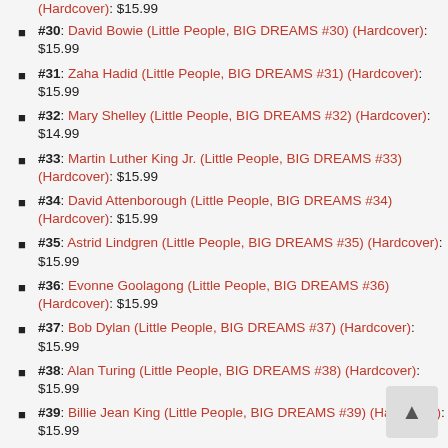(Hardcover): $15.99
#30: David Bowie (Little People, BIG DREAMS #30) (Hardcover): $15.99
#31: Zaha Hadid (Little People, BIG DREAMS #31) (Hardcover): $15.99
#32: Mary Shelley (Little People, BIG DREAMS #32) (Hardcover): $14.99
#33: Martin Luther King Jr. (Little People, BIG DREAMS #33) (Hardcover): $15.99
#34: David Attenborough (Little People, BIG DREAMS #34) (Hardcover): $15.99
#35: Astrid Lindgren (Little People, BIG DREAMS #35) (Hardcover): $15.99
#36: Evonne Goolagong (Little People, BIG DREAMS #36) (Hardcover): $15.99
#37: Bob Dylan (Little People, BIG DREAMS #37) (Hardcover): $15.99
#38: Alan Turing (Little People, BIG DREAMS #38) (Hardcover): $15.99
#39: Billie Jean King (Little People, BIG DREAMS #39) (Hardcover): $15.99